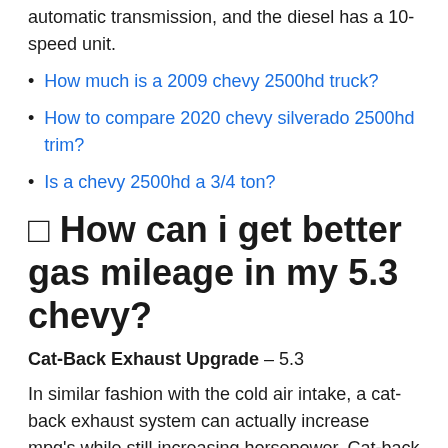automatic transmission, and the diesel has a 10-speed unit.
How much is a 2009 chevy 2500hd truck?
How to compare 2020 chevy silverado 2500hd trim?
Is a chevy 2500hd a 3/4 ton?
🔲 How can i get better gas mileage in my 5.3 chevy?
Cat-Back Exhaust Upgrade – 5.3
In similar fashion with the cold air intake, a cat-back exhaust system can actually increase mpg's while still increasing horsepower. Cat-back exhaust systems